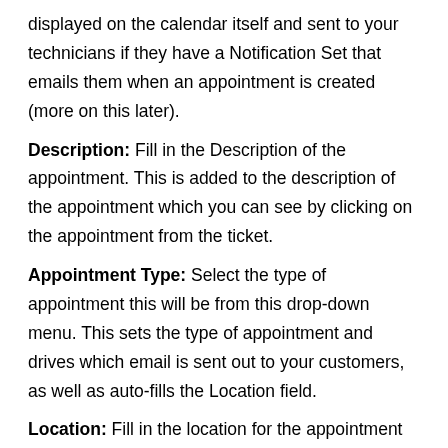displayed on the calendar itself and sent to your technicians if they have a Notification Set that emails them when an appointment is created (more on this later).
Description: Fill in the Description of the appointment. This is added to the description of the appointment which you can see by clicking on the appointment from the ticket.
Appointment Type: Select the type of appointment this will be from this drop-down menu. This sets the type of appointment and drives which email is sent out to your customers, as well as auto-fills the Location field.
Location: Fill in the location for the appointment and it will set the location for the appointment and populate the location in your appointment email templates.
Date Time: Select the date and time that the appointment